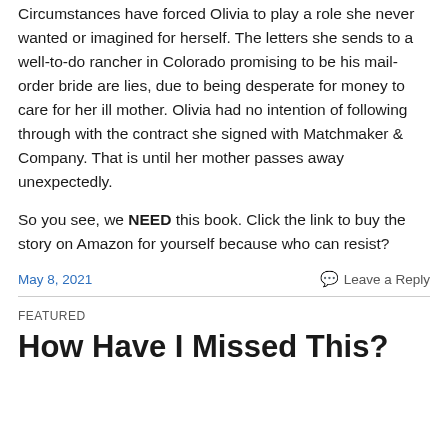Circumstances have forced Olivia to play a role she never wanted or imagined for herself. The letters she sends to a well-to-do rancher in Colorado promising to be his mail-order bride are lies, due to being desperate for money to care for her ill mother. Olivia had no intention of following through with the contract she signed with Matchmaker & Company. That is until her mother passes away unexpectedly.
So you see, we NEED this book. Click the link to buy the story on Amazon for yourself because who can resist?
May 8, 2021    Leave a Reply
FEATURED
How Have I Missed This?